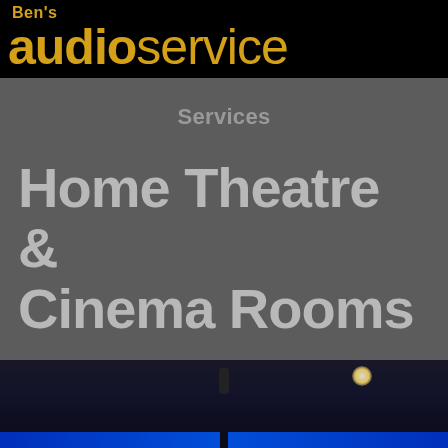Ben's audio service
Services
Home Theatre & Cinema Rooms
[Figure (photo): Interior of a home cinema room with blue LED strip lighting along the lower walls and ceiling, dark seating, and a speaker visible in the center top of the frame.]